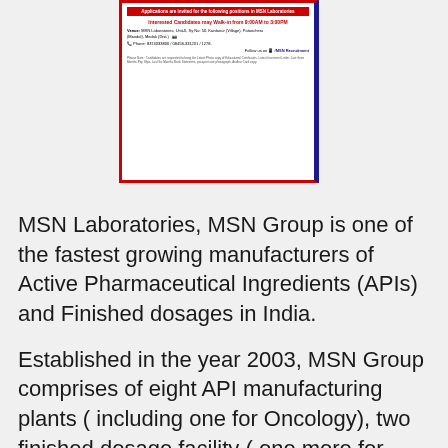[Figure (infographic): MSN Laboratories recruitment flyer with red border and blue right border. Contains walk-in notice: 'Interested Candidates may Walk-in from 9:00AM to 3:00PM', venue details: MSN Laboratories, Unit-II, Sy No: 50, Kardanur (Village), Patancheru (Mandal), Medak (Dist.), phone: 8374033800 / 08458-331201 / 1278, social media: Follow us on /MSN Recruitment, and a please note section about required documents.]
MSN Laboratories, MSN Group is one of the fastest growing manufacturers of Active Pharmaceutical Ingredients (APIs) and Finished dosages in India.
Established in the year 2003, MSN Group comprises of eight API manufacturing plants ( including one for Oncology), two finished dosage facility ( one more for Oncology being built) and a dedicated R&D Center and is growing 30-40% every year. Our plants are ISO 9001-2008 certified...